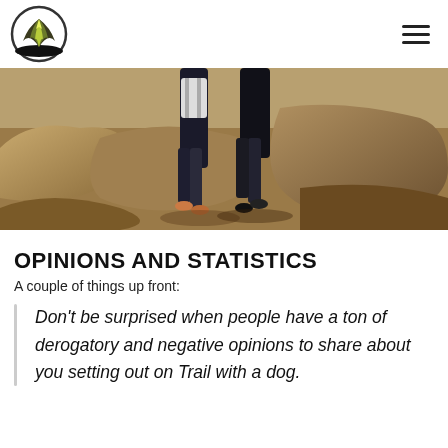[Figure (photo): Outdoor photo showing two people walking on rocky terrain, wearing dark clothing, shot from a low angle.]
OPINIONS AND STATISTICS
A couple of things up front:
Don't be surprised when people have a ton of derogatory and negative opinions to share about you setting out on Trail with a dog.